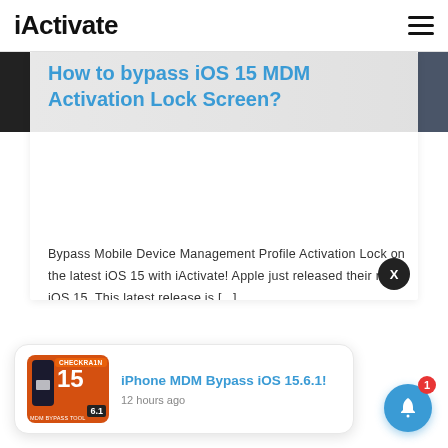iActivate
How to bypass iOS 15 MDM Activation Lock Screen?
Bypass Mobile Device Management Profile Activation Lock on the latest iOS 15 with iActivate! Apple just released their new iOS 15. This latest release is [...]
[Figure (screenshot): Notification toast with image thumbnail and text 'iPhone MDM Bypass iOS 15.6.1!' and '12 hours ago']
iPhone MDM Bypass iOS 15.6.1!
12 hours ago